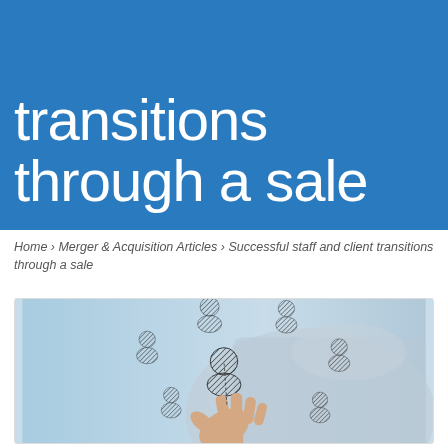transitions through a sale
Home › Merger & Acquisition Articles › Successful staff and client transitions through a sale
[Figure (photo): A hand placing a person icon among a network of dark person silhouette icons on a light blue background, representing staff and client transitions in a business sale context.]